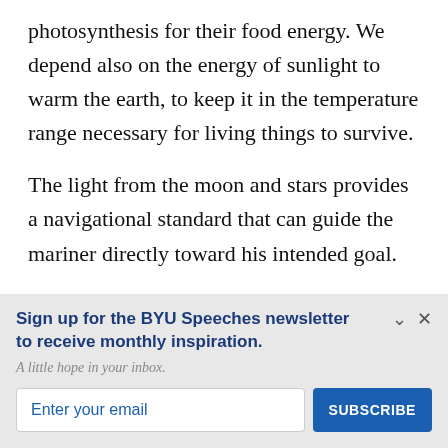photosynthesis for their food energy. We depend also on the energy of sunlight to warm the earth, to keep it in the temperature range necessary for living things to survive.
The light from the moon and stars provides a navigational standard that can guide the mariner directly toward his intended goal.
Sign up for the BYU Speeches newsletter to receive monthly inspiration.
A little hope in your inbox.